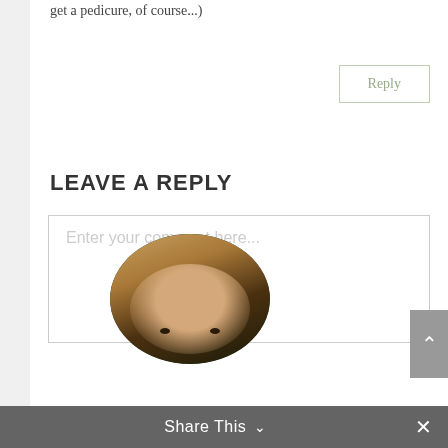get a pedicure, of course...)
Reply
LEAVE A REPLY
Enter your comment here...
[Figure (photo): Portrait photo of a woman with blonde hair, partially visible at bottom of page, circular crop, dark green/forest background]
Share This ∨  ×